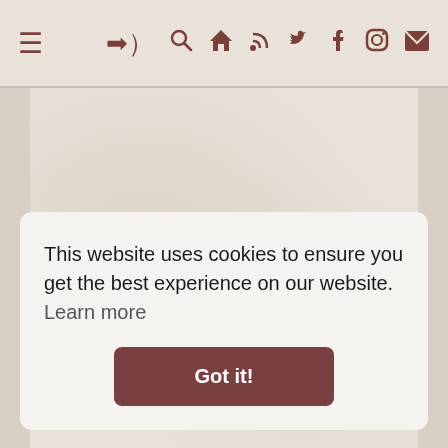≡  ➔) 🔍 🏠 RSS Twitter Facebook Instagram Mail
[Figure (screenshot): Beige/parchment textured background area below the navigation bar]
This website uses cookies to ensure you get the best experience on our website.  Learn more
Got it!